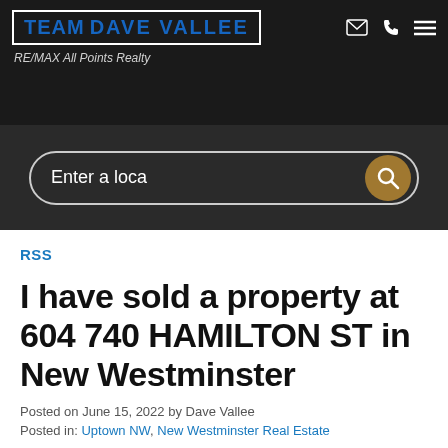TEAM DAVE VALLEE — RE/MAX All Points Realty
[Figure (screenshot): Search bar with 'Enter a loca' placeholder text and gold search button]
RSS
I have sold a property at 604 740 HAMILTON ST in New Westminster
Posted on June 15, 2022 by Dave Vallee
Posted in: Uptown NW, New Westminster Real Estate